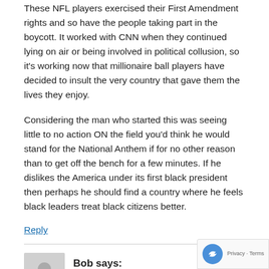These NFL players exercised their First Amendment rights and so have the people taking part in the boycott. It worked with CNN when they continued lying on air or being involved in political collusion, so it's working now that millionaire ball players have decided to insult the very country that gave them the lives they enjoy.
Considering the man who started this was seeing little to no action ON the field you'd think he would stand for the National Anthem if for no other reason than to get off the bench for a few minutes. If he dislikes the America under its first black president then perhaps he should find a country where he feels black leaders treat black citizens better.
Reply
Bob says:
September 24, 2016 at 5:46 pm
So it's completely fine for Cap to believe and do what and it's free speech.He has that right,which was paid at a